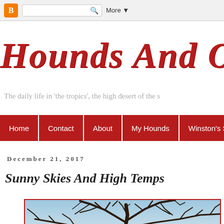Blogger navigation bar with search and More button
Hounds And Othe
The daily life in 'the tropics', the high desert of the s
Home | Contact | About | My Hounds | Winston's St
December 21, 2017
Sunny Skies And High Temps
[Figure (photo): Photo of bare tree branches against a blue winter sky]